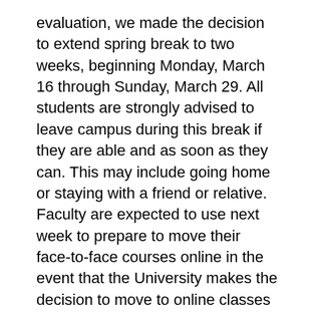evaluation, we made the decision to extend spring break to two weeks, beginning Monday, March 16 through Sunday, March 29. All students are strongly advised to leave campus during this break if they are able and as soon as they can. This may include going home or staying with a friend or relative. Faculty are expected to use next week to prepare to move their face-to-face courses online in the event that the University makes the decision to move to online classes after spring break. A separate email will be sent to faculty with additional information.
University operations will continue during spring break. Students currently living on campus who cannot make arrangements to stay away from